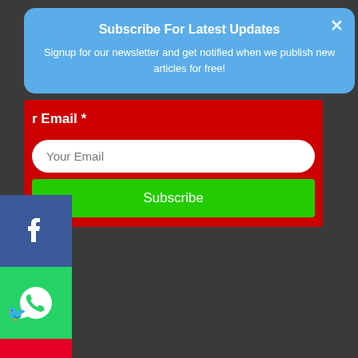Subscribe For Latest Updates
Signup for our newsletter and get notified when we publish new articles for free!
r Email *
Your Email
Subscribe
[Figure (screenshot): Social media share sidebar icons: Facebook (blue), WhatsApp (green), Pinterest (red), Gmail (white/red), Instagram (gradient), LinkedIn (blue), and a small bird/bookmark icon]
⚡ by Convertful